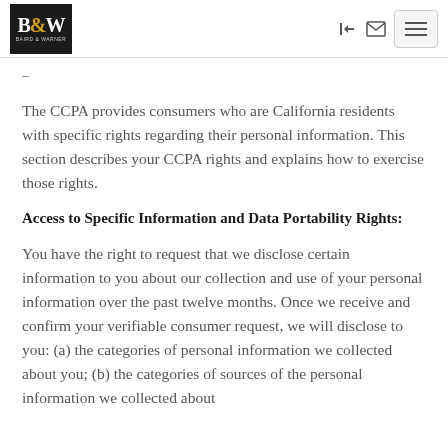Baird & Warner logo and navigation header
The CCPA provides consumers who are California residents with specific rights regarding their personal information. This section describes your CCPA rights and explains how to exercise those rights.
Access to Specific Information and Data Portability Rights:
You have the right to request that we disclose certain information to you about our collection and use of your personal information over the past twelve months. Once we receive and confirm your verifiable consumer request, we will disclose to you: (a) the categories of personal information we collected about you; (b) the categories of sources of the personal information we collected about